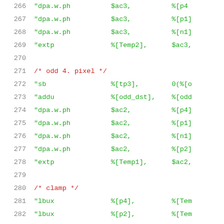266   "dpa.w.ph   $ac3,   %[p4]
267   "dpa.w.ph   $ac3,   %[p1]
268   "dpa.w.ph   $ac3,   %[n1]
269   "extp       %[Temp2],   $ac3,
270
271   /* odd 4. pixel */
272   "sb         %[tp3],   0(%[o
273   "addu       %[odd_dst],   %[odd
274   "dpa.w.ph   $ac2,   %[p4]
275   "dpa.w.ph   $ac2,   %[p1]
276   "dpa.w.ph   $ac2,   %[n1]
277   "dpa.w.ph   $ac2,   %[p2]
278   "extp       %[Temp1],   $ac2,
279
280   /* clamp */
281   "lbux       %[p4],   %[Tem
282   "lbux       %[p2],   %[Tem
283   "lbux       %[n1],   %[Tem
284
285   /* store bytes */
286   "sb         %[p4],   0(%[o